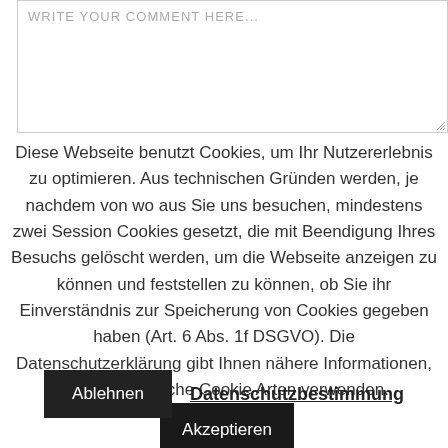[Figure (screenshot): Text area input box with placeholder text 'WRITE YOUR COMMENT HERE...' and a resize handle at bottom right]
Diese Webseite benutzt Cookies, um Ihr Nutzererlebnis zu optimieren. Aus technischen Gründen werden, je nachdem von wo aus Sie uns besuchen, mindestens zwei Session Cookies gesetzt, die mit Beendigung Ihres Besuchs gelöscht werden, um die Webseite anzeigen zu können und feststellen zu können, ob Sie ihr Einverständnis zur Speicherung von Cookies gegeben haben (Art. 6 Abs. 1f DSGVO). Die Datenschutzerklärung gibt Ihnen nähere Informationen, warum wir welche Cookie Arten verwenden.
Akzeptieren
Ablehnen
Datenschutzbestimmung